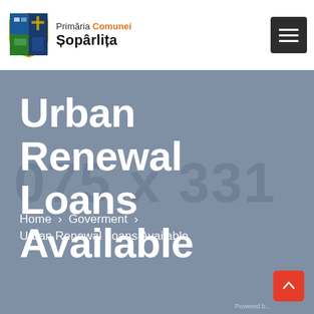Primăria Comunei Șopârlița
Urban Renewal Loans Available
Home > Goverment > Urban Renewal Loans Available